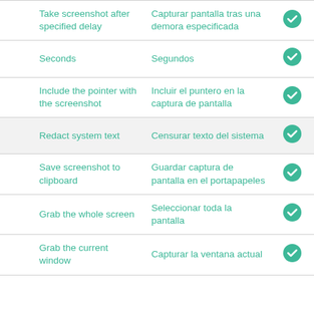|  | Take screenshot after specified delay | Capturar pantalla tras una demora especificada | ✓ |
|  | Seconds | Segundos | ✓ |
|  | Include the pointer with the screenshot | Incluir el puntero en la captura de pantalla | ✓ |
|  | Redact system text | Censurar texto del sistema | ✓ |
|  | Save screenshot to clipboard | Guardar captura de pantalla en el portapapeles | ✓ |
|  | Grab the whole screen | Seleccionar toda la pantalla | ✓ |
|  | Grab the current window | Capturar la ventana actual | ✓ |